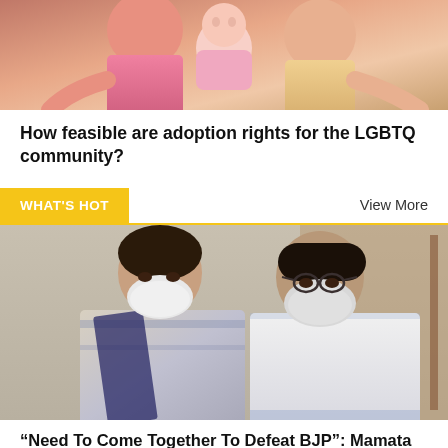[Figure (photo): Top portion of a photo showing people, partially cropped — appears to show adults holding a baby, wearing colorful clothes]
How feasible are adoption rights for the LGBTQ community?
WHAT'S HOT
View More
[Figure (photo): Two women standing together wearing face masks and traditional Indian attire — one in a printed saree/dupatta on the left, one in a white saree on the right]
“Need To Come Together To Defeat BJP”: Mamata Banerjee